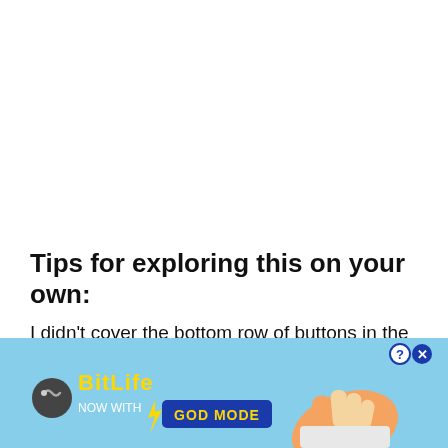Tips for exploring this on your own:
I didn't cover the bottom row of buttons in the Pathfinder palette because it would get extremely confusing. Essentially the bottom row buttons perform a number of combinations of the top buttons. For example, the "Divide" button will divide...
[Figure (screenshot): Advertisement overlay for BitLife game with 'GOD MODE' button, cartoon hand pointing, close and help buttons, on a sky-blue background.]